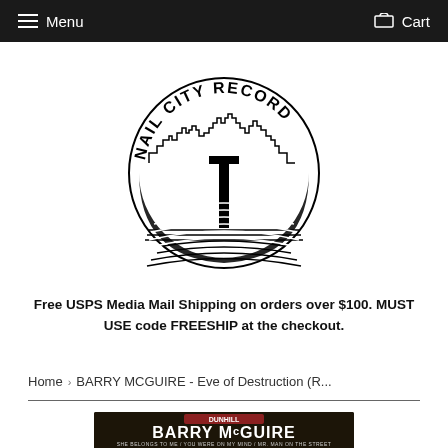Menu  Cart
[Figure (logo): Nail City Record circular logo with skyline, nail, and vinyl record wave lines]
Free USPS Media Mail Shipping on orders over $100. MUST USE code FREESHIP at the checkout.
Home › BARRY MCGUIRE - Eve of Destruction (R...
[Figure (photo): Barry McGuire album cover on Dunhill label showing artist name and song titles: She Belongs To Me / You Were On My Mind / Mr. Man On The Street]